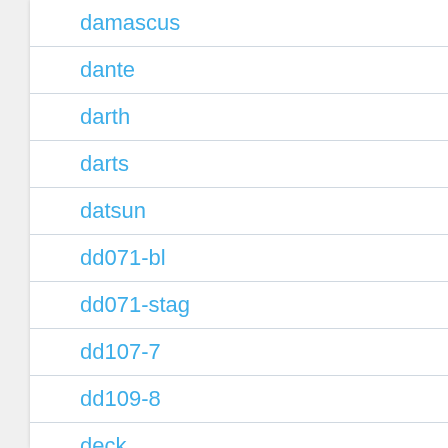damascus
dante
darth
darts
datsun
dd071-bl
dd071-stag
dd107-7
dd109-8
deck
deco
deltarockwell
desert